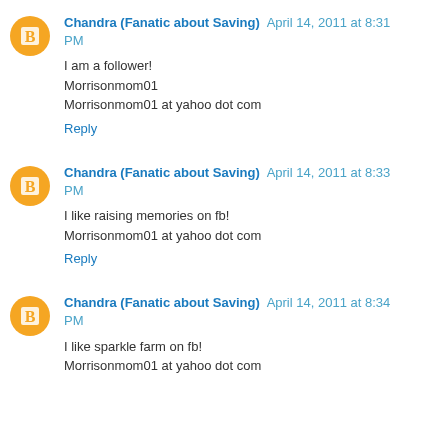Chandra (Fanatic about Saving) April 14, 2011 at 8:31 PM
I am a follower!
Morrisonmom01
Morrisonmom01 at yahoo dot com
Reply
Chandra (Fanatic about Saving) April 14, 2011 at 8:33 PM
I like raising memories on fb!
Morrisonmom01 at yahoo dot com
Reply
Chandra (Fanatic about Saving) April 14, 2011 at 8:34 PM
I like sparkle farm on fb!
Morrisonmom01 at yahoo dot com